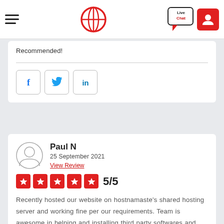[Figure (logo): Website header with hamburger menu, globe logo, live chat bubble, and user icon]
Recommended!
[Figure (infographic): Social share buttons: Facebook (f), Twitter (bird), LinkedIn (in)]
Paul N
25 September 2021
View Review
[Figure (infographic): 5 red star rating boxes with star icons and 5/5 score label]
Recently hosted our website on hostnamaste's shared hosting server and working fine per our requirements. Team is awesome in helping and installing third party softwares and available all the time. Thank you.